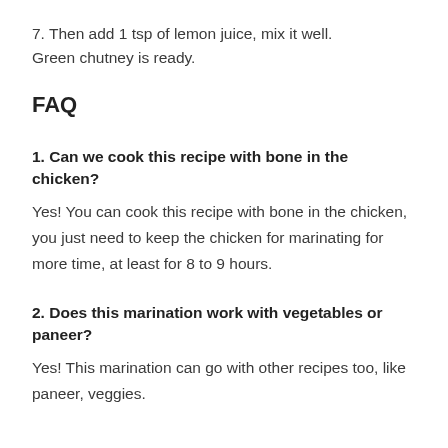7. Then add 1 tsp of lemon juice, mix it well. Green chutney is ready.
FAQ
1. Can we cook this recipe with bone in the chicken?
Yes! You can cook this recipe with bone in the chicken, you just need to keep the chicken for marinating for more time, at least for 8 to 9 hours.
2. Does this marination work with vegetables or paneer?
Yes! This marination can go with other recipes too, like paneer, veggies.